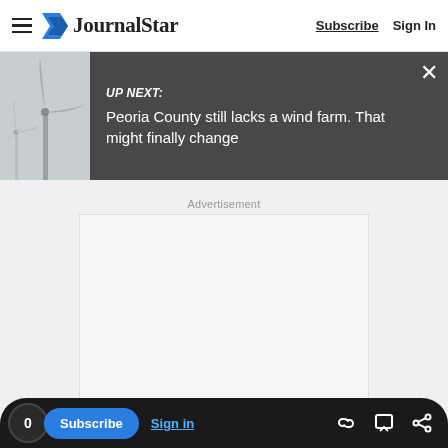JournalStar — Subscribe | Sign In
[Figure (screenshot): Up Next banner showing wind turbine image with dark background and text: UP NEXT: Peoria County still lacks a wind farm. That might finally change]
Advertisement
[Figure (other): Empty advertisement placeholder box]
0 | Subscribe | Sign in | link icon | comment icon | share icon